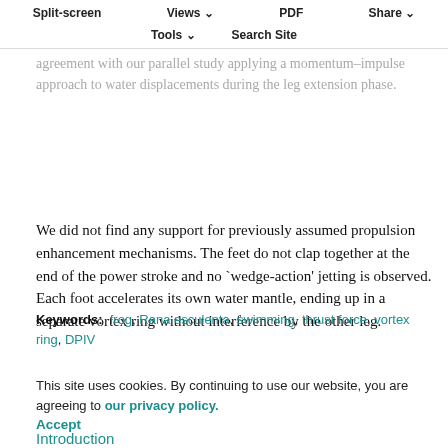Split-screen  Views  PDF  Share  Tools  Search Site
agreement with our parallel study applying a momentum–impulse approach to water displacements during the leg extension phase.
We did not find any support for previously assumed propulsion enhancement mechanisms. The feet do not clap together at the end of the power stroke and no `wedge-action' jetting is observed. Each foot accelerates its own water mantle, ending up in a separate vortex ring without interference by the other leg.
Keywords:  frog, Rana esculenta, swimming, thrust force, vortex ring, DPIV
This site uses cookies. By continuing to use our website, you are agreeing to our privacy policy. Accept
Introduction